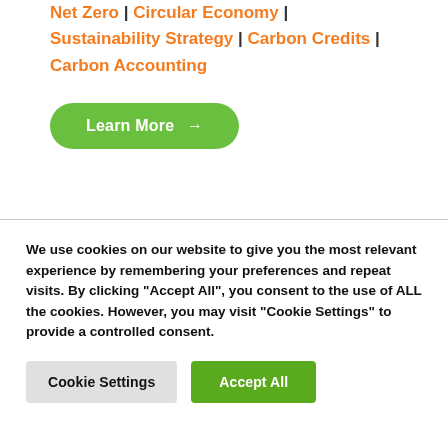Net Zero | Circular Economy | Sustainability Strategy | Carbon Credits | Carbon Accounting
Learn More →
We use cookies on our website to give you the most relevant experience by remembering your preferences and repeat visits. By clicking "Accept All", you consent to the use of ALL the cookies. However, you may visit "Cookie Settings" to provide a controlled consent.
Cookie Settings
Accept All